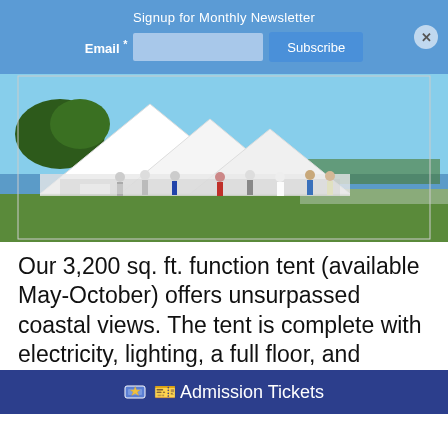Signup for Monthly Newsletter
[Figure (photo): Outdoor event with a large white function tent near a coastal waterway. People are mingling on a green lawn beneath and around the tent on a clear day.]
Our 3,200 sq. ft. function tent (available May-October) offers unsurpassed coastal views. The tent is complete with electricity, lighting, a full floor, and sheltering with a full es up to 200 people at tables. Clients may